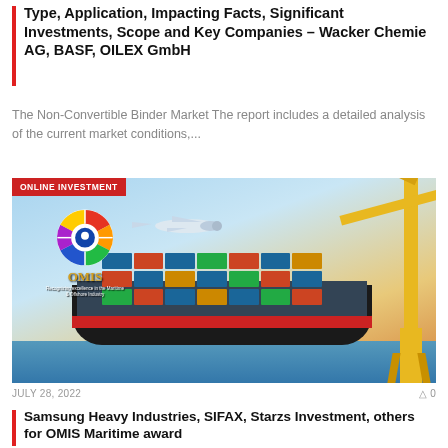Type, Application, Impacting Facts, Significant Investments, Scope and Key Companies – Wacker Chemie AG, BASF, OILEX GmbH
The Non-Convertible Binder Market The report includes a detailed analysis of the current market conditions,...
[Figure (photo): OMIS branded image showing a cargo ship at port with shipping containers and yellow crane on the right, an airplane flying overhead, and the OMIS logo with colorful wheel graphic on the left. Red banner reading ONLINE INVESTMENT in the top-left corner.]
JULY 28, 2022
0
Samsung Heavy Industries, SIFAX, Starzs Investment, others for OMIS Maritime award